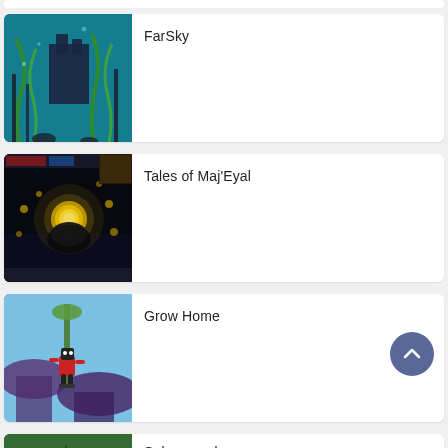[Figure (screenshot): Partial game card at top, cropped image of a game scene]
FarSky
[Figure (screenshot): FarSky game screenshot showing underwater scene with teal water, seaweed, and structures]
Tales of Maj'Eyal
[Figure (screenshot): Tales of Maj'Eyal game screenshot showing dark dungeon scene with glowing yellow orb]
Grow Home
[Figure (screenshot): Grow Home game screenshot showing robot character on tall plant with blue sky background]
Submerged
[Figure (screenshot): Partial Submerged game card at bottom, cropped green forest scene]